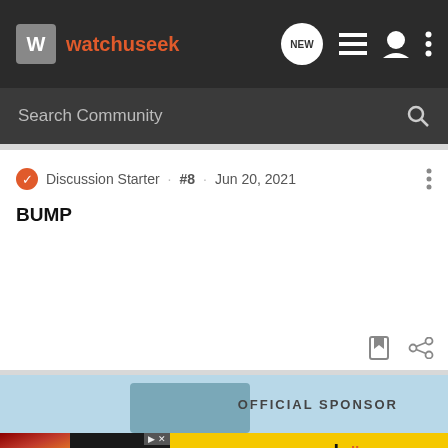watchuseek — navigation bar with NEW, list, user, and menu icons
Search Community
Discussion Starter · #8 · Jun 20, 2021
BUMP
[Figure (screenshot): Partial advertisement banner showing 'OFFICIAL SPONSOR' text on a blue background, with watch/hammer imagery]
[Figure (advertisement): Peacock streaming service ad: Firestarter movie image on left, Peacock logo with colored dots and STREAM NOW text on yellow background]